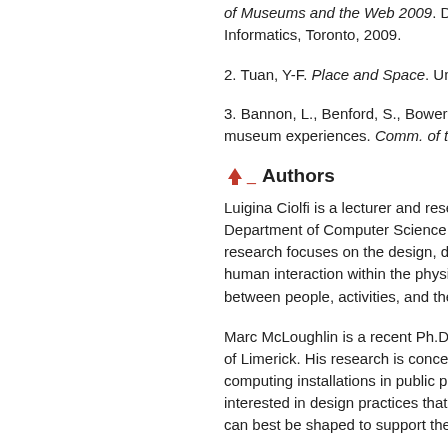of Museums and the Web 2009. D. Be Informatics, Toronto, 2009.
2. Tuan, Y-F. Place and Space. Univer
3. Bannon, L., Benford, S., Bowers, J. museum experiences. Comm. of the A
Authors
Luigina Ciolfi is a lecturer and research Department of Computer Science and research focuses on the design, devel human interaction within the physical v between people, activities, and their lo
Marc McLoughlin is a recent Ph.D gra of Limerick. His research is concerned computing installations in public places interested in design practices that con can best be shaped to support them.
©2012 ACM  1072-5220/12/0900  $15
Permission to make digital or hard cop classroom use is granted without fee